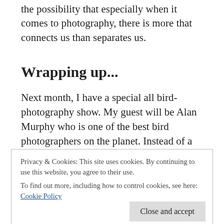the possibility that especially when it comes to photography, there is more that connects us than separates us.
Wrapping up...
Next month, I have a special all bird-photography show. My guest will be Alan Murphy who is one of the best bird photographers on the planet. Instead of a short interview, we will do the whole show together so don't miss it.
Also, please do me a favor if you like the show. Please
Privacy & Cookies: This site uses cookies. By continuing to use this website, you agree to their use.
To find out more, including how to control cookies, see here: Cookie Policy
Close and accept
updates every time there's something new at Nature Methods and the chance possible in the form of